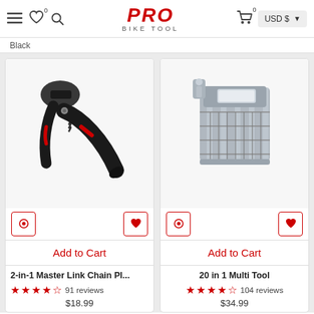PRO BIKE TOOL — Navigation header with hamburger, wishlist, search, logo, cart (0), USD $
Black
[Figure (photo): 2-in-1 Master Link Chain Plier tool with black handles and red accents, spring mechanism visible]
Add to Cart
2-in-1 Master Link Chain Pl...
91 reviews
$18.99
[Figure (photo): 20 in 1 Multi Tool — silver metallic multi-function bicycle tool with multiple hex keys and bits]
Add to Cart
20 in 1 Multi Tool
104 reviews
$34.99